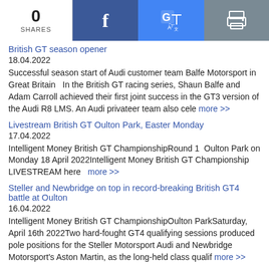0 SHARES | Facebook | Google Translate | Print
British GT season opener
18.04.2022
Successful season start of Audi customer team Balfe Motorsport in Great Britain   In the British GT racing series, Shaun Balfe and Adam Carroll achieved their first joint success in the GT3 version of the Audi R8 LMS. An Audi privateer team also cele more >>
Livestream British GT Oulton Park, Easter Monday
17.04.2022
Intelligent Money British GT ChampionshipRound 1  Oulton Park on Monday 18 April 2022Intelligent Money British GT Championship LIVESTREAM here    more >>
Steller and Newbridge on top in record-breaking British GT4 battle at Oulton
16.04.2022
Intelligent Money British GT ChampionshipOulton ParkSaturday, April 16th 2022Two hard-fought GT4 qualifying sessions produced pole positions for the Steller Motorsport Audi and Newbridge Motorsport's Aston Martin, as the long-held class qualif more >>
Gounon blitzs lap record after Balfe takes British GT Oulton race 1 pole
16.04.2022
Intelligent Money British GT ChampionshipOulton ParkSaturday,